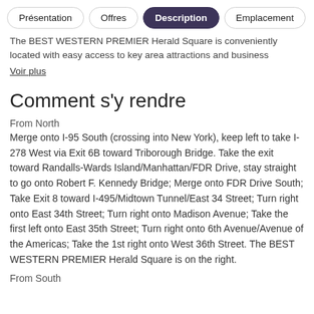Présentation | Offres | Description | Emplacement
The BEST WESTERN PREMIER Herald Square is conveniently located with easy access to key area attractions and business
Voir plus
Comment s'y rendre
From North
Merge onto I-95 South (crossing into New York), keep left to take I-278 West via Exit 6B toward Triborough Bridge. Take the exit toward Randalls-Wards Island/Manhattan/FDR Drive, stay straight to go onto Robert F. Kennedy Bridge; Merge onto FDR Drive South; Take Exit 8 toward I-495/Midtown Tunnel/East 34 Street; Turn right onto East 34th Street; Turn right onto Madison Avenue; Take the first left onto East 35th Street; Turn right onto 6th Avenue/Avenue of the Americas; Take the 1st right onto West 36th Street. The BEST WESTERN PREMIER Herald Square is on the right.
From South